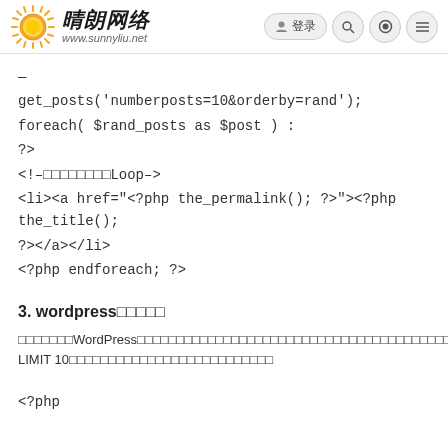晴朗网络 www.sunnyliu.net
—
get_posts('numberposts=10&orderby=rand');
foreach( $rand_posts as $post ) :
?>
<!--自定义随机文章Loop-->
<li><a href="<?php the_permalink(); ?>"><? php the_title(); ?></a></li>
<?php endforeach; ?>
3. wordpress随机文章
下面的方法使用WordPress的数据库进行排序实现随机文章的效果，利用SQL的RAND和LIMIT 10来限制数量和实现随机排序。
<?php